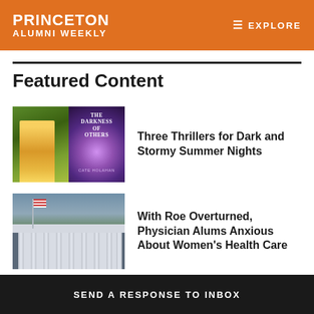PRINCETON ALUMNI WEEKLY | EXPLORE
Featured Content
[Figure (photo): Collage of a woman in a yellow dress outdoors near a statue, and the book cover 'The Darkness of Others' by Cate Holahan]
Three Thrillers for Dark and Stormy Summer Nights
[Figure (photo): Photo of a US government building (Supreme Court) with columns, trees, and an American flag]
With Roe Overturned, Physician Alums Anxious About Women's Health Care
SEND A RESPONSE TO INBOX